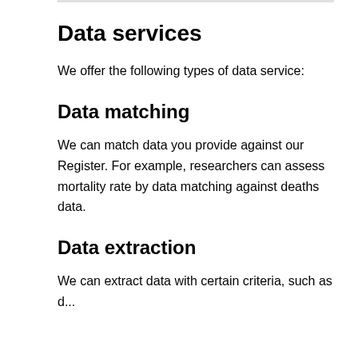Data services
We offer the following types of data service:
Data matching
We can match data you provide against our Register. For example, researchers can assess mortality rate by data matching against deaths data.
Data extraction
We can extract data with certain criteria, such as d...